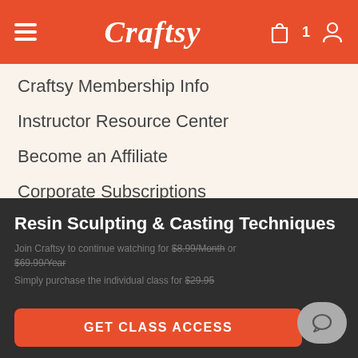Craftsy
Craftsy Membership Info
Instructor Resource Center
Become an Affiliate
Corporate Subscriptions
Spanish
© 2022 Craftsy | Terms of Service | Privacy Policy | Do Not Sell My Info
Resin Sculpting & Casting Techniques
Join Craftsy to continue watching for $8.99/Month or $69.99/Year
Simply purchase the individual class for $29.95
GET CLASS ACCESS